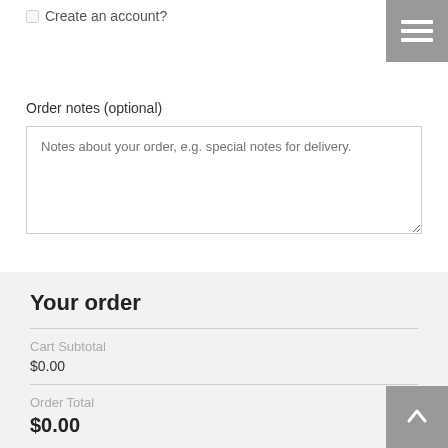Create an account?
Order notes (optional)
Notes about your order, e.g. special notes for delivery.
Your order
| Cart Subtotal | $0.00 |
| Order Total | $0.00 |